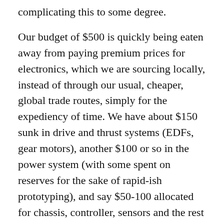complicating this to some degree.
Our budget of $500 is quickly being eaten away from paying premium prices for electronics, which we are sourcing locally, instead of through our usual, cheaper, global trade routes, simply for the expediency of time. We have about $150 sunk in drive and thrust systems (EDFs, gear motors), another $100 or so in the power system (with some spent on reserves for the sake of rapid-ish prototyping), and say $50-100 allocated for chassis, controller, sensors and the rest of the electronics, a lot of which we already had.
We've done about 3 days of work, and I foresee about 3-5 more before we have a testable platform.  Depending on the sanity of our design choices and integration work, we may be close to done at that point, or scramble back to the drawing board, with very little time to spare before